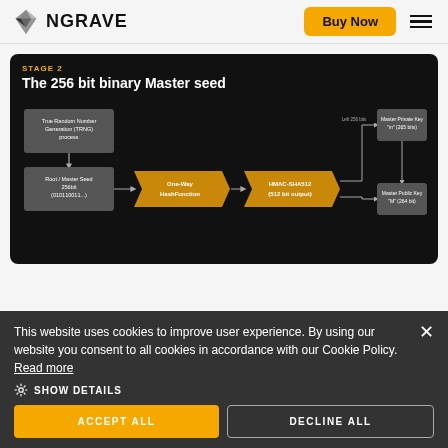[Figure (logo): NGRAVE logo with diamond/gem shape icon and bold text 'NGRAVE']
Buy Now
[Figure (flowchart): Stage 2: The 256 bit binary Master seed flowchart showing True Random Number Generation (TRNG) process -> Root/Master Seed 256bit (010110011...) -> One-Way HashFunction -> HMAC-SHA512 (512 bit output) which splits into Left 256 bits -> Master Private Key 'm' (265 bits) and right -> Master Public Key 'M' (264 bit)]
This website uses cookies to improve user experience. By using our website you consent to all cookies in accordance with our Cookie Policy. Read more
SHOW DETAILS
ACCEPT ALL
DECLINE ALL